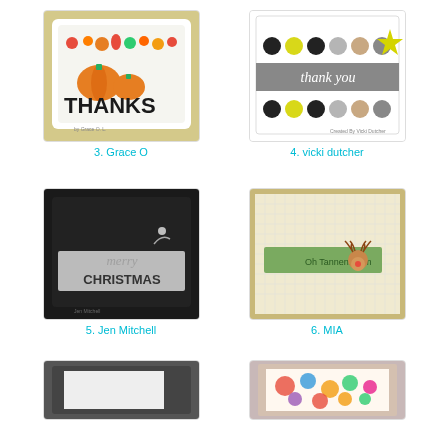[Figure (photo): Handmade card with THANKS text and vegetable/pumpkin decorations on white embossed background]
3. Grace O
[Figure (photo): Handmade thank you card with colorful dots and yellow star on grey banner]
4. vicki dutcher
[Figure (photo): Handmade Merry Christmas card with white script on dark/black card]
5. Jen Mitchell
[Figure (photo): Handmade Oh Tannenbaum card with reindeer on cream textured background]
6. MIA
[Figure (photo): Partial view of handmade card with dark border and white/silver panel]
[Figure (photo): Partial view of handmade card with colorful Christmas/holiday pattern]